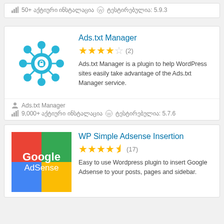50+ აქტიური ინსტალაცია  ტესტირებულია: 5.9.3
Ads.txt Manager
★★★★☆ (2)
Ads.txt Manager is a plugin to help WordPress sites easily take advantage of the Ads.txt Manager service.
Ads.txt Manager
9,000+ აქტიური ინსტალაცია  ტესტირებულია: 5.7.6
WP Simple Adsense Insertion
★★★★½ (17)
Easy to use Wordpress plugin to insert Google Adsense to your posts, pages and sidebar.